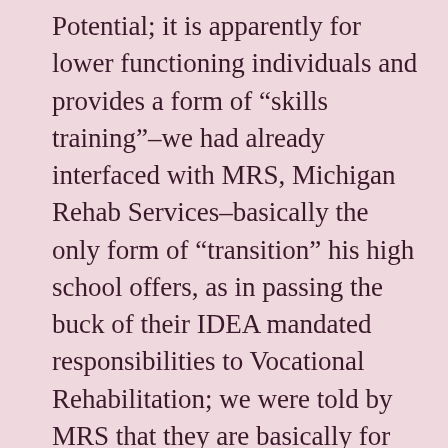Potential; it is apparently for lower functioning individuals and provides a form of “skills training”–we had already interfaced with MRS, Michigan Rehab Services–basically the only form of “transition” his high school offers, as in passing the buck of their IDEA mandated responsibilities to Vocational Rehabilitation; we were told by MRS that they are basically for people a couple of months away from being employable and Josiah needed significant “skill building”, also the magnitude of his disabilities meant that regardless of when we returned to MRS for services he would likely be among the population whose needs were legally mandated to be addressed, irrespective of funding issues or his place in line–I believe this provides quite strong